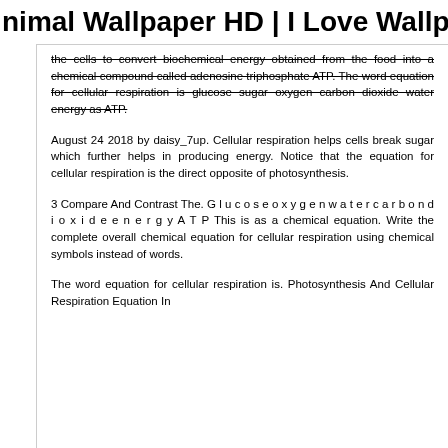nimal Wallpaper HD | I Love Wallpap
the cells to convert biochemical energy obtained from the food into a chemical compound called adenosine triphosphate ATP. The word equation for cellular respiration is glucose sugar oxygen carbon dioxide water energy as ATP.
August 24 2018 by daisy_7up. Cellular respiration helps cells break sugar which further helps in producing energy. Notice that the equation for cellular respiration is the direct opposite of photosynthesis.
3 Compare And Contrast The. G l u c o s e o x y g e n w a t e r c a r b o n d i o x i d e e n e r g y A T P This is as a chemical equation. Write the complete overall chemical equation for cellular respiration using chemical symbols instead of words.
The word equation for cellular respiration is. Photosynthesis And Cellular Respiration Equation In